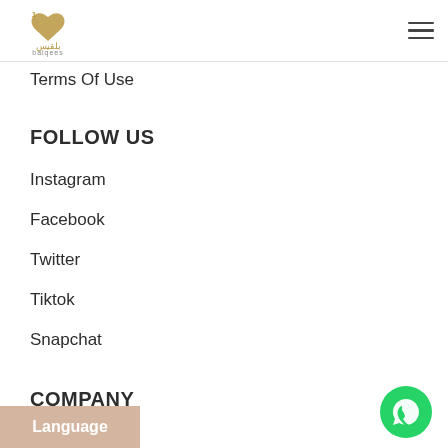balqees logo and navigation menu
Terms Of Use
FOLLOW US
Instagram
Facebook
Twitter
Tiktok
Snapchat
COMPANY
Language